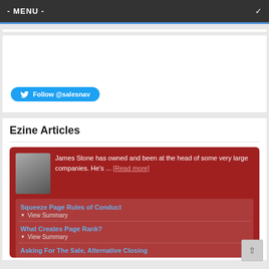- MENU -
[Figure (other): Twitter follow widget box with Follow @salesnav button]
Ezine Articles
James Stone has owned and been at the head of some very large companies. He's ... [Read more]
Squeeze Page Rules of Conduct — View Summary
What Creates Page Rank? — View Summary
Asking For The Sale, Alternative Closing